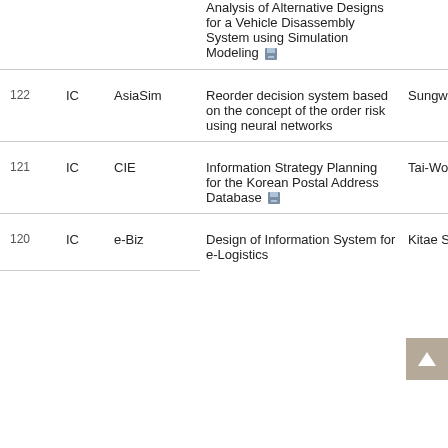| # | Type | Conference | Title | Author |
| --- | --- | --- | --- | --- |
|  |  |  | Analysis of Alternative Designs for a Vehicle Disassembly System using Simulation Modeling 💾 |  |
| 122 | IC | AsiaSim | Reorder decision system based on the concept of the order risk using neural networks | Sungwon Ju… |
| 121 | IC | CIE | Information Strategy Planning for the Korean Postal Address Database 💾 | Tai-Woo Cha… |
| 120 | IC | e-Biz | Design of Information System for e-Logistics | Kitae Shin |